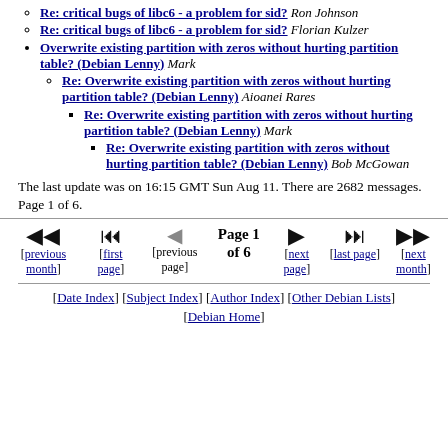Re: critical bugs of libc6 - a problem for sid? Ron Johnson
Re: critical bugs of libc6 - a problem for sid? Florian Kulzer
Overwrite existing partition with zeros without hurting partition table? (Debian Lenny) Mark
Re: Overwrite existing partition with zeros without hurting partition table? (Debian Lenny) Aioanei Rares
Re: Overwrite existing partition with zeros without hurting partition table? (Debian Lenny) Mark
Re: Overwrite existing partition with zeros without hurting partition table? (Debian Lenny) Bob McGowan
The last update was on 16:15 GMT Sun Aug 11. There are 2682 messages. Page 1 of 6.
Page 1 of 6 navigation with previous month, first page, previous page, next page, last page, next month
[Date Index] [Subject Index] [Author Index] [Other Debian Lists] [Debian Home]